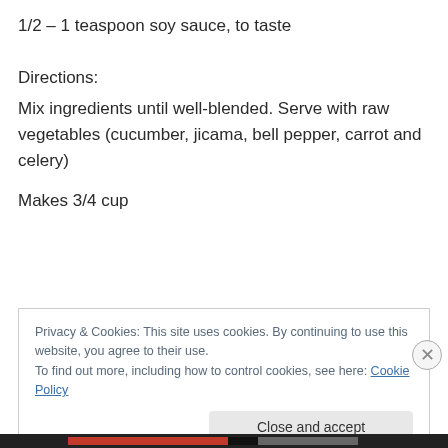1/2 – 1 teaspoon soy sauce, to taste
Directions:
Mix ingredients until well-blended. Serve with raw vegetables (cucumber, jicama, bell pepper, carrot and celery)
Makes 3/4 cup
Privacy & Cookies: This site uses cookies. By continuing to use this website, you agree to their use.
To find out more, including how to control cookies, see here: Cookie Policy
Close and accept